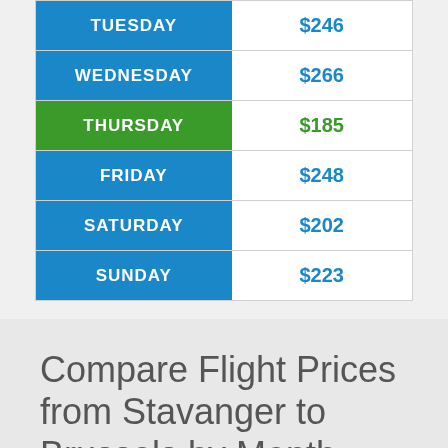| Day | Price |
| --- | --- |
| TUESDAY | $246 |
| WEDNESDAY | $266 |
| THURSDAY | $185 |
| FRIDAY | $248 |
| SATURDAY | $202 |
| SUNDAY | $223 |
Compare Flight Prices from Stavanger to Brussels by Month